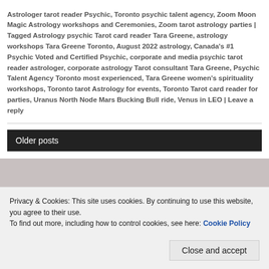Astrologer tarot reader Psychic, Toronto psychic talent agency, Zoom Moon Magic Astrology workshops and Ceremonies, Zoom tarot astrology parties | Tagged Astrology psychic Tarot card reader Tara Greene, astrology workshops Tara Greene Toronto, August 2022 astrology, Canada's #1 Psychic Voted and Certified Psychic, corporate and media psychic tarot reader astrologer, corporate astrology Tarot consultant Tara Greene, Psychic Talent Agency Toronto most experienced, Tara Greene women's spirituality workshops, Toronto tarot Astrology for events, Toronto Tarot card reader for parties, Uranus North Node Mars Bucking Bull ride, Venus in LEO | Leave a reply
Older posts
Privacy & Cookies: This site uses cookies. By continuing to use this website, you agree to their use. To find out more, including how to control cookies, see here: Cookie Policy
Close and accept